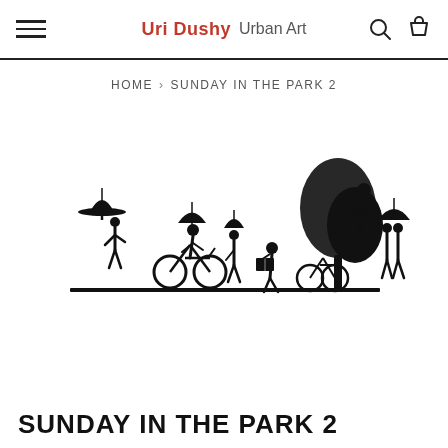Uri Dushy Urban Art
HOME > SUNDAY IN THE PARK 2
[Figure (illustration): Black metal silhouette wall art showing a park scene. From left to right: a person under an umbrella, two cyclists with umbrellas, a person walking with umbrella, a person sitting reading a book, a cyclist, a large tree, a person climbing a tree, and two people under an umbrella on the right. All figures are black silhouettes mounted on a horizontal base bar.]
SUNDAY IN THE PARK 2